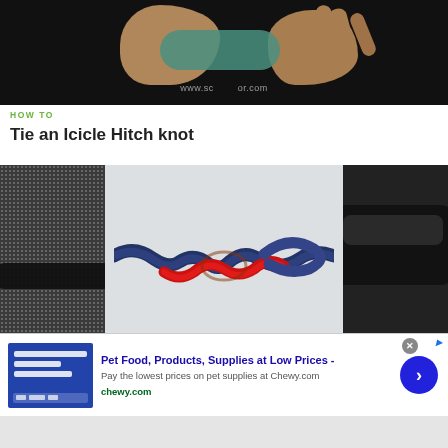[Figure (photo): Hands tying a knot with a teal/green rope, dark background, with watermark text partially visible]
HOW TO
Tie an Icicle Hitch knot
[Figure (photo): Three-panel strip showing a rope knot: left panel dark with halftone dots and dark rope, center panel shows red and blue/black twisted rope forming a knot on light background, right panel shows dark rope on dark background]
[Figure (photo): Advertisement banner: Pet Food, Products, Supplies at Low Prices - Pay the lowest prices on pet supplies at Chewy.com. chewy.com]